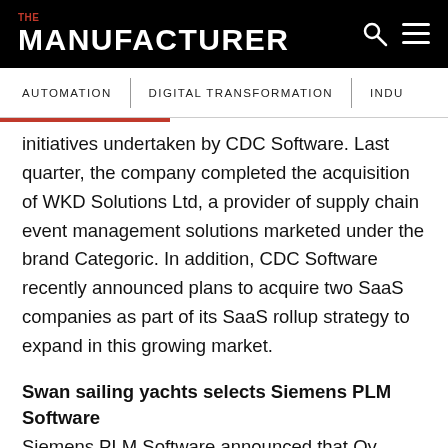THE MANUFACTURER
AUTOMATION | DIGITAL TRANSFORMATION | INDU
initiatives undertaken by CDC Software. Last quarter, the company completed the acquisition of WKD Solutions Ltd, a provider of supply chain event management solutions marketed under the brand Categoric. In addition, CDC Software recently announced plans to acquire two SaaS companies as part of its SaaS rollup strategy to expand in this growing market.
Swan sailing yachts selects Siemens PLM Software
Siemens PLM Software announced that Oy Nautor Ab, builder of the Swan sailing yachts, selected Teamcenter software as its corporatewide PLM solution, and will deploy 60 seats when fully implemented.